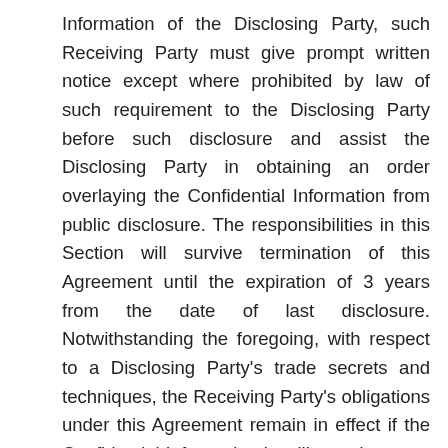Information of the Disclosing Party, such Receiving Party must give prompt written notice except where prohibited by law of such requirement to the Disclosing Party before such disclosure and assist the Disclosing Party in obtaining an order overlaying the Confidential Information from public disclosure. The responsibilities in this Section will survive termination of this Agreement until the expiration of 3 years from the date of last disclosure. Notwithstanding the foregoing, with respect to a Disclosing Party's trade secrets and techniques, the Receiving Party's obligations under this Agreement remain in effect if the Confidential Information is still a trade secret under the Uniform Trade Secrets Act.